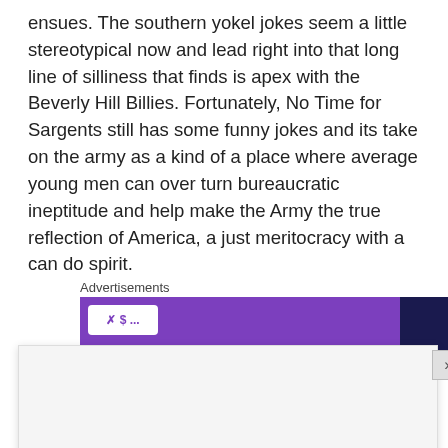ensues. The southern yokel jokes seem a little stereotypical now and lead right into that long line of silliness that finds is apex with the Beverly Hill Billies. Fortunately, No Time for Sargents still has some funny jokes and its take on the army as a kind of a place where average young men can over turn bureaucratic ineptitude and help make the Army the true reflection of America, a just meritocracy with a can do spirit.
[Figure (other): Advertisements banner with purple background and small white button element]
Privacy & Cookies: This site uses cookies. By continuing to use this website, you agree to their use.
To find out more, including how to control cookies, see here: Cookie Policy
Close and accept